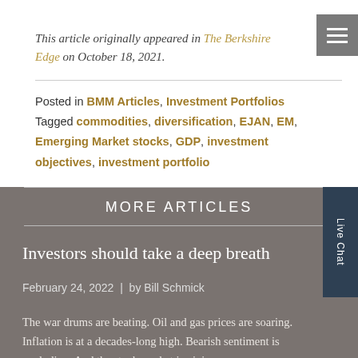This article originally appeared in The Berkshire Edge on October 18, 2021.
Posted in BMM Articles, Investment Portfolios Tagged commodities, diversification, EJAN, EM, Emerging Market stocks, GDP, investment objectives, investment portfolio
MORE ARTICLES
Investors should take a deep breath
February 24, 2022 | by Bill Schmick
The war drums are beating. Oil and gas prices are soaring. Inflation is at a decades-long high. Bearish sentiment is exploding. And the stock market is giving